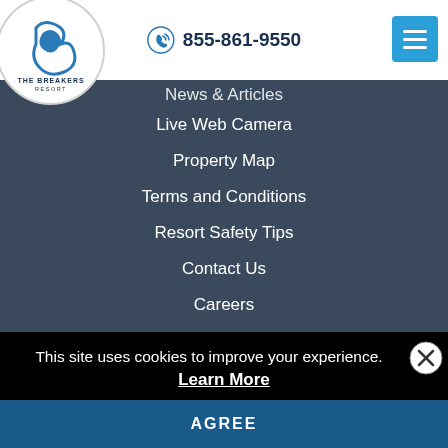[Figure (logo): The Breakers Resort logo: circular white badge with stylized wave/letter B in blue and text 'THE BREAKERS RESORT']
855-861-9550
News & Articles
Live Web Camera
Property Map
Terms and Conditions
Resort Safety Tips
Contact Us
Careers
Homeowner Services / Portal
This site uses cookies to improve your experience.
Learn More
AGREE